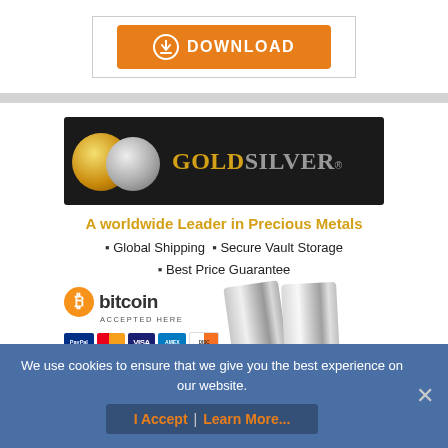[Figure (screenshot): Orange download button with download icon and text DOWNLOAD]
[Figure (infographic): GoldSilver advertisement banner with logo, tagline 'A worldwide Leader in Precious Metals', bullet points for Global Shipping, Secure Vault Storage, Best Price Guarantee, bitcoin accepted here logo, payment icons (PayPal, MasterCard, Visa, Amex, Discover), silver bars image, and goldsilver.com URL]
We use cookies to ensure that we give you the best experience on our website.
I Accept   Learn More...